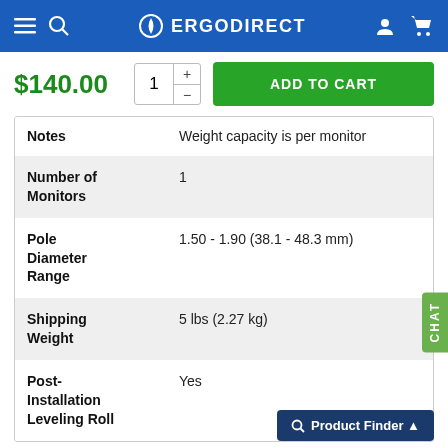ERGODIRECT
$140.00
| Attribute | Value |
| --- | --- |
| Notes | Weight capacity is per monitor |
| Number of Monitors | 1 |
| Pole Diameter Range | 1.50 - 1.90 (38.1 - 48.3 mm) |
| Shipping Weight | 5 lbs (2.27 kg) |
| Post-Installation Leveling Roll | Yes |